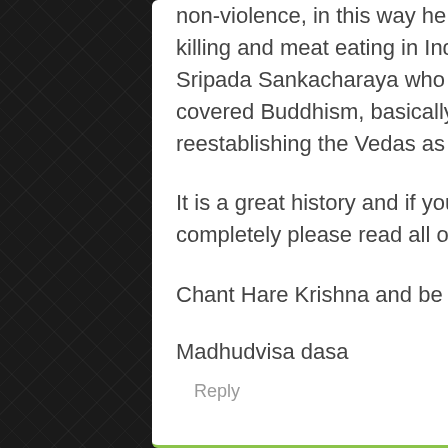non-violence, in this way he eliminated the animal killing and meat eating in India and paved the way for Sripada Sankacharaya who came later and preached covered Buddhism, basically Buddhism but reestablishing the Vedas as the authority.
It is a great history and if you want to understand it completely please read all of Srila Prabhupada's books.
Chant Hare Krishna and be happy!
Madhudvisa dasa
Reply